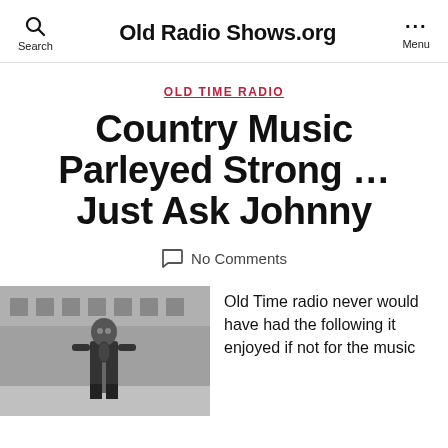Old Radio Shows.org
OLD TIME RADIO
Country Music Parleyed Strong … Just Ask Johnny
No Comments
[Figure (photo): Black and white photo of a man standing at a microphone outdoors, with a building in the background]
Old Time radio never would have had the following it enjoyed if not for the music